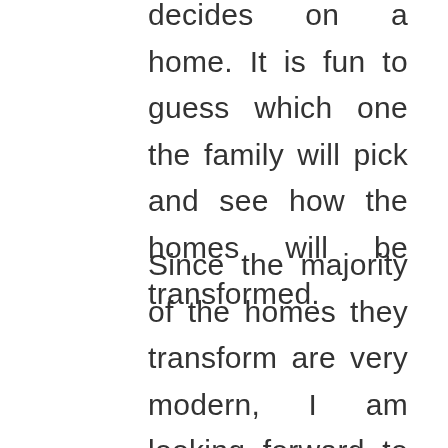decides on a home. It is fun to guess which one the family will pick and see how the homes will be transformed.
Since the majority of the homes they transform are very modern, I am looking forward to seeing how they handle the ranch. Their family is even going to join them on the show as they reminisce about growing up on the ranch, and how